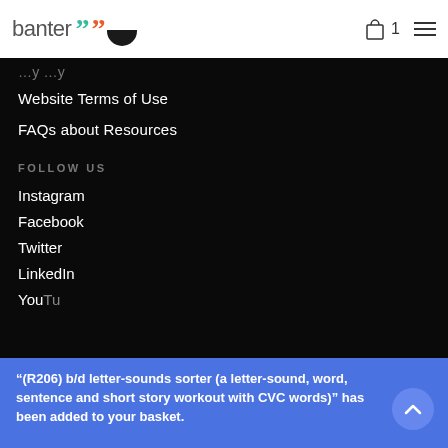banter [logo] 1 [menu]
[partially visible link]
Website Terms of Use
FAQs about Resources
FOLLOW US
Instagram
Facebook
Twitter
LinkedIn
YouTube [partially visible]
“(R206) b/d letter-sounds sorter (a letter-sound, word, sentence and short story workout with CVC words)” has been added to your basket.